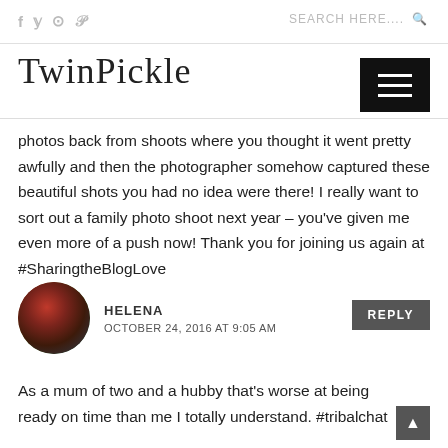f  y  ⊙  p    SEARCH HERE....  🔍
TwinPickle
photos back from shoots where you thought it went pretty awfully and then the photographer somehow captured these beautiful shots you had no idea were there! I really want to sort out a family photo shoot next year – you've given me even more of a push now! Thank you for joining us again at #SharingtheBlogLove
HELENA
OCTOBER 24, 2016 AT 9:05 AM
As a mum of two and a hubby that's worse at being ready on time than me I totally understand. #tribalchat